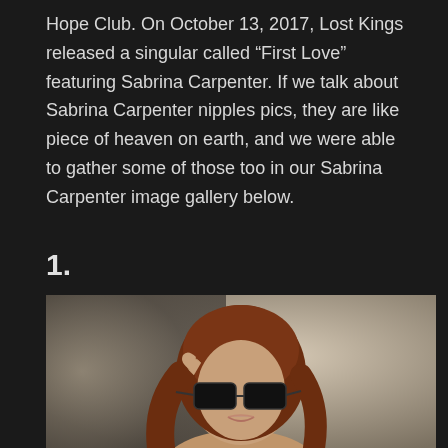Hope Club. On October 13, 2017, Lost Kings released a singular called “First Love” featuring Sabrina Carpenter. If we talk about Sabrina Carpenter nipples pics, they are like piece of heaven on earth, and we were able to gather some of those too in our Sabrina Carpenter image gallery below.
1.
[Figure (photo): A young woman with long auburn/brown hair, wearing dark wayfarers sunglasses, adjusting her hair with one hand. Photographed against a light beige/cream background. Portrait style photo, visible from shoulders up.]